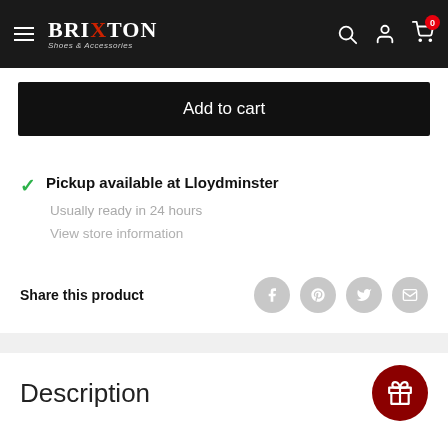Brixton Shoes & Accessories — navigation header
Add to cart
Pickup available at Lloydminster
Usually ready in 24 hours
View store information
Share this product
Description